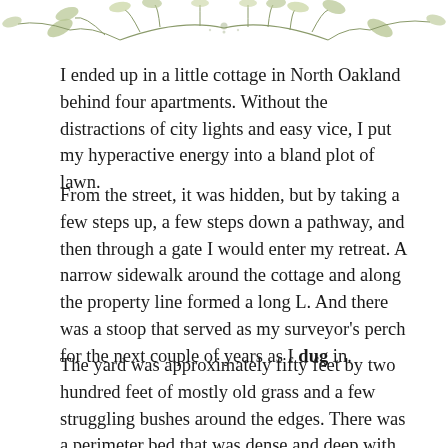[Figure (illustration): Decorative botanical illustration of leaves and branches in olive green at the top of the page]
I ended up in a little cottage in North Oakland behind four apartments. Without the distractions of city lights and easy vice, I put my hyperactive energy into a bland plot of lawn.
From the street, it was hidden, but by taking a few steps up, a few steps down a pathway, and then through a gate I would enter my retreat. A narrow sidewalk around the cottage and along the property line formed a long L. And there was a stoop that served as my surveyor's perch for the next couple of years as I dug in.
The yard was approximately fifty feet by two hundred feet of mostly old grass and a few struggling bushes around the edges. There was a perimeter bed that was dense and deep with ivy and its notorious complex root